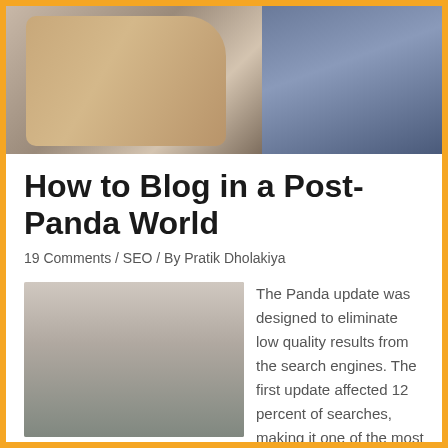[Figure (photo): Hero image showing a person's arm with a pink bracelet and another person in jeans in the background]
How to Blog in a Post-Panda World
19 Comments / SEO / By Pratik Dholakiya
[Figure (photo): Author photo of Pratik Dholakiya, a man with a beard wearing a checkered shirt, seated in an office chair]
The Panda update was designed to eliminate low quality results from the search engines. The first update affected 12 percent of searches, making it one of the most massive updates of all